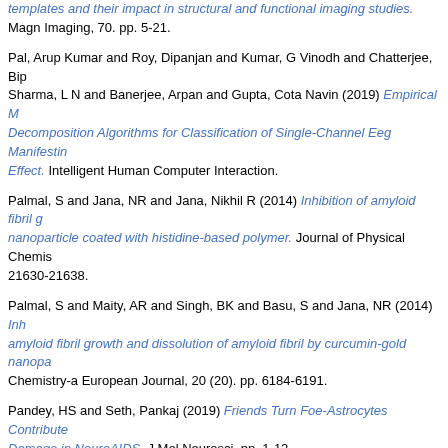templates and their impact in structural and functional imaging studies. Magnetic Resonance Imaging, 70. pp. 5-21.
Pal, Arup Kumar and Roy, Dipanjan and Kumar, G Vinodh and Chatterjee, Bip... Sharma, L N and Banerjee, Arpan and Gupta, Cota Navin (2019) Empirical Mode Decomposition Algorithms for Classification of Single-Channel Eeg Manifesting... Effect. Intelligent Human Computer Interaction.
Palmal, S and Jana, NR and Jana, Nikhil R (2014) Inhibition of amyloid fibril g... nanoparticle coated with histidine-based polymer. Journal of Physical Chemistry... 21630-21638.
Palmal, S and Maity, AR and Singh, BK and Basu, S and Jana, NR (2014) Inh... amyloid fibril growth and dissolution of amyloid fibril by curcumin-gold nanopa... Chemistry-a European Journal, 20 (20). pp. 6184-6191.
Pandey, HS and Seth, Pankaj (2019) Friends Turn Foe-Astrocytes Contribute... Damage in NeuroAIDS. J Mol Neurosci. pp. 1-12.
Pandey, Hriday Shanker and Kapoor, Rishabh and , Bindu and Seth, Pankaj (...) 1A facilitates calcium mobilization and promotes astrocyte reactivity in HIV-1... Neuropathogenesis. FASEB BioAdvances. ISSN 2573-9832
Pandey, K and Sharma, KP and Sharma, SK (2015) Histone deacetylase inhi... facilitates massed pattern-induced synaptic plasticity and memory. Learn Mem... 514-518.
Pandey, K and Sharma, SK (2020) Activity- and memory training-induced ace... tubulin in the hippocampus. Neurobiol Learn Mem, 171 (107226).
Pandey, K and Sharma, SK (2011) Activity-Dependent Acetylation of Alpha Tu... Hippocampus. J Mol Neurosci, 45 (1). pp. 1-4.